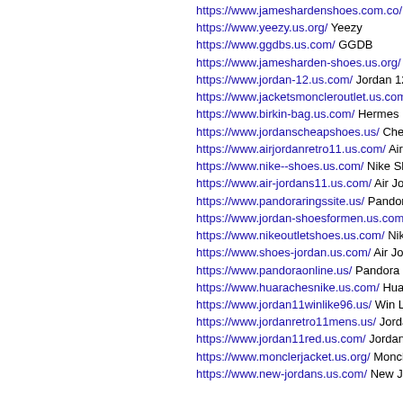https://www.jameshardenshoes.com.co/ Ja...
https://www.yeezy.us.org/ Yeezy
https://www.ggdbs.us.com/ GGDB
https://www.jamesharden-shoes.us.org/ Ja...
https://www.jordan-12.us.com/ Jordan 12
https://www.jacketsmoncleroutlet.us.com/ M...
https://www.birkin-bag.us.com/ Hermes Bir...
https://www.jordanscheapshoes.us/ Cheap...
https://www.airjordanretro11.us.com/ Air Jo...
https://www.nike--shoes.us.com/ Nike Sho...
https://www.air-jordans11.us.com/ Air Jorda...
https://www.pandoraringssite.us/ Pandora R...
https://www.jordan-shoesformen.us.com/ A...
https://www.nikeoutletshoes.us.com/ Nike O...
https://www.shoes-jordan.us.com/ Air Jorda...
https://www.pandoraonline.us/ Pandora Ch...
https://www.huarachesnike.us.com/ Huara...
https://www.jordan11winlike96.us/ Win Like...
https://www.jordanretro11mens.us/ Jordan...
https://www.jordan11red.us.com/ Jordan 11...
https://www.monclerjacket.us.org/ Moncler...
https://www.new-jordans.us.com/ New Jor...